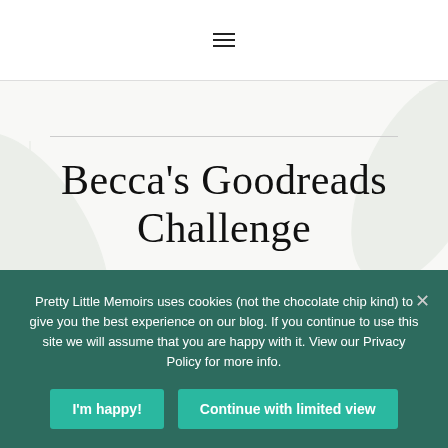≡
Becca's Goodreads Challenge
Pretty Little Memoirs uses cookies (not the chocolate chip kind) to give you the best experience on our blog. If you continue to use this site we will assume that you are happy with it. View our Privacy Policy for more info.
I'm happy! | Continue with limited view